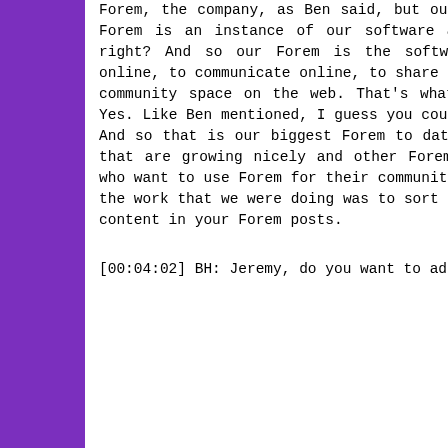Forem, the company, as Ben said, but our product is called Forem. And so a Forem is an instance of our software and our software is for community, right? And so our Forem is the software that allows communities to be online, to communicate online, to share online, and basically carve out your community space on the web. That's what Forem means to me in a nutshell. Yes. Like Ben mentioned, I guess you could say the flagship Forem is DEV.to. And so that is our biggest Forem to date. But we have several dozen others that are growing nicely and other Forem Creators, we call them. So people who want to use Forem for their community needs are signing up every day. So the work that we were doing was to sort of enhance the ability to share rich content in your Forem posts.
[00:04:02] BH: Jeremy, do you want to add anything to that?